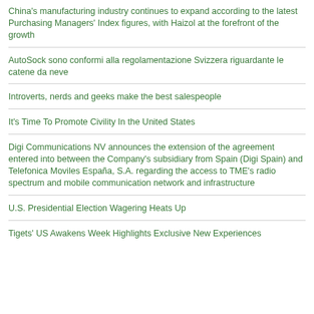China's manufacturing industry continues to expand according to the latest Purchasing Managers' Index figures, with Haizol at the forefront of the growth
AutoSock sono conformi alla regolamentazione Svizzera riguardante le catene da neve
Introverts, nerds and geeks make the best salespeople
It's Time To Promote Civility In the United States
Digi Communications NV announces the extension of the agreement entered into between the Company's subsidiary from Spain (Digi Spain) and Telefonica Moviles España, S.A. regarding the access to TME's radio spectrum and mobile communication network and infrastructure
U.S. Presidential Election Wagering Heats Up
Tigets' US Awakens Week Highlights Exclusive New Experiences